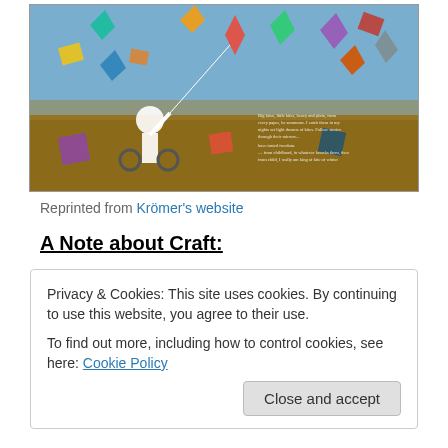[Figure (illustration): A colorful painting showing a person in a wheelchair flying kites. The scene is vibrant with many kites of different colors and patterns flying in a blue sky. In the background there is a city skyline silhouette. The foreground shows brown earth tones. There is text written in the painting on the right side.]
Reprinted from Krömer's website
A Note about Craft:
Privacy & Cookies: This site uses cookies. By continuing to use this website, you agree to their use.
To find out more, including how to control cookies, see here: Cookie Policy
Close and accept
the text; rather, we know he's in a wheelchair only